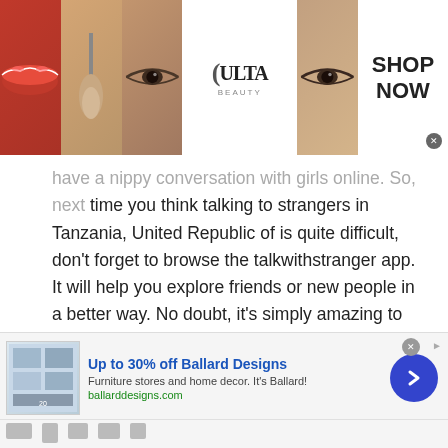[Figure (screenshot): Ulta Beauty advertisement banner with makeup photos (lips, brush, eye) and 'SHOP NOW' call to action]
have a nippy conversation with girls online. So, next time you think talking to strangers in Tanzania, United Republic of is quite difficult, don't forget to browse the talkwithstranger app. It will help you explore friends or new people in a better way. No doubt, it's simply amazing to experience a lot of fun and joy with millions of new people online!
Adult chat
[Figure (screenshot): Ballard Designs advertisement banner: 'Up to 30% off Ballard Designs', Furniture stores and home decor, ballarddesigns.com]